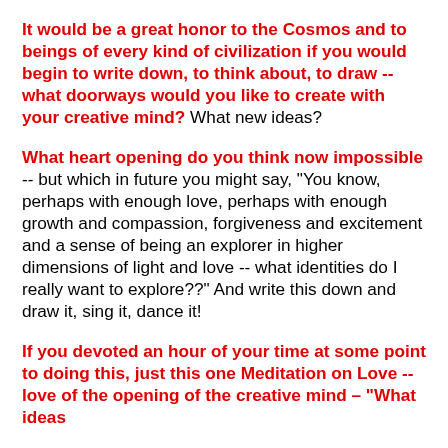It would be a great honor to the Cosmos and to beings of every kind of civilization if you would begin to write down, to think about, to draw -- what doorways would you like to create with your creative mind? What new ideas?
What heart opening do you think now impossible -- but which in future you might say, "You know, perhaps with enough love, perhaps with enough growth and compassion, forgiveness and excitement and a sense of being an explorer in higher dimensions of light and love -- what identities do I really want to explore??" And write this down and draw it, sing it, dance it!
If you devoted an hour of your time at some point to doing this, just this one Meditation on Love -- love of the opening of the creative mind – "What ideas